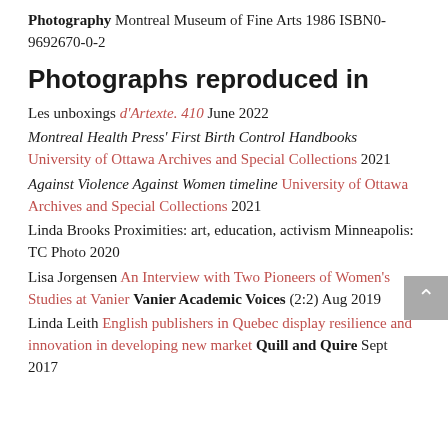Photography Montreal Museum of Fine Arts 1986 ISBN0-9692670-0-2
Photographs reproduced in
Les unboxings d'Artexte. 410 June 2022
Montreal Health Press' First Birth Control Handbooks University of Ottawa Archives and Special Collections 2021
Against Violence Against Women timeline University of Ottawa Archives and Special Collections 2021
Linda Brooks Proximities: art, education, activism Minneapolis: TC Photo 2020
Lisa Jorgensen An Interview with Two Pioneers of Women's Studies at Vanier Vanier Academic Voices (2:2) Aug 2019
Linda Leith English publishers in Quebec display resilience and innovation in developing new market Quill and Quire Sept 2017